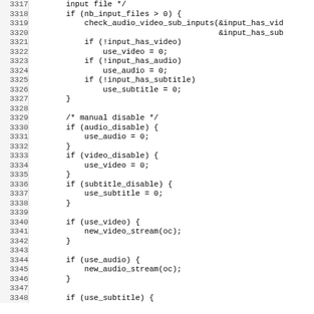Source code listing lines 3317-3348, C code for audio/video stream handling